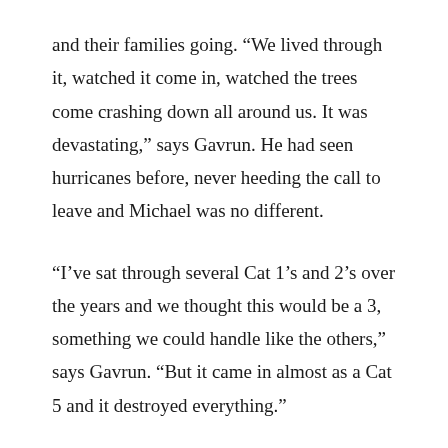and their families going. “We lived through it, watched it come in, watched the trees come crashing down all around us. It was devastating,” says Gavrun. He had seen hurricanes before, never heeding the call to leave and Michael was no different.
“I’ve sat through several Cat 1’s and 2’s over the years and we thought this would be a 3, something we could handle like the others,” says Gavrun. “But it came in almost as a Cat 5 and it destroyed everything.”